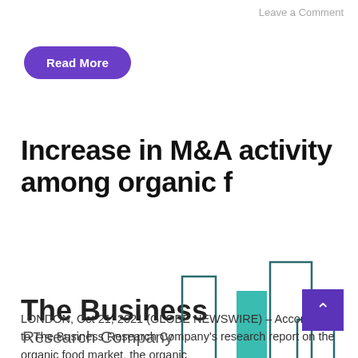Leave a Comment
Read More
Increase in M&A activity among organic f
[Figure (logo): The Business Research Company logo with teal and dark teal bar chart icon on the right side]
LONDON, Oct 21, 2021 (GLOBE NEWSWIRE) – According to The Business Research Company's research report on the organic food market, the organic